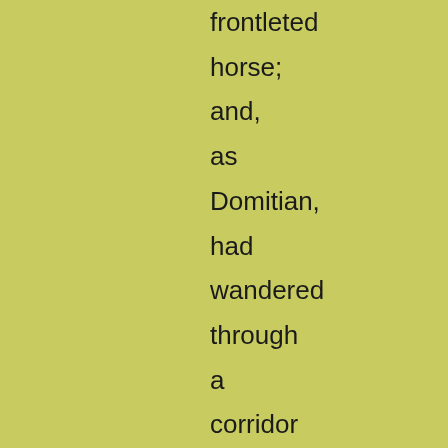frontleted horse; and, as Domitian, had wandered through a corridor lined with marble mirrors, looking round with haggard eyes